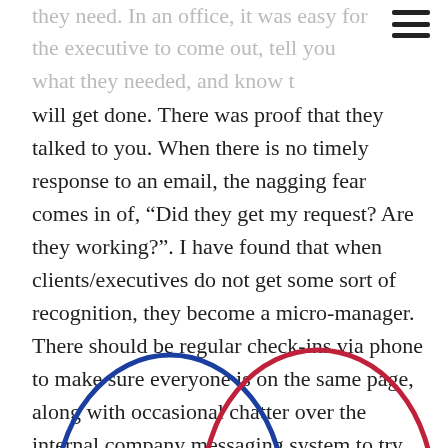they need. In an office, it was easy for the executive to come out, tell you what they needed, and know t
will get done. There was proof that they talked to you. When there is no timely response to an email, the nagging fear comes in of, “Did they get my request? Are they working?”. I have found that when clients/executives do not get some sort of recognition, they become a micro-manager. There should be regular check-ins via phone to make sure everyone is on the same page, along with occasional chatter over the internal company messaging system to try and keep the relationship stable.
[Figure (illustration): Two overlapping ellipses: one blue on the left and one red on the right, forming a Venn diagram-like shape. Only the bottom portion of the ellipses is visible as the image is cropped.]